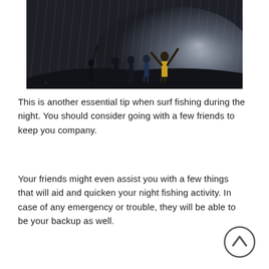[Figure (photo): Silhouettes of people standing on a hill in a dark stormy night scene with rain or light streaks behind them; one person has arms raised]
This is another essential tip when surf fishing during the night. You should consider going with a few friends to keep you company.
Your friends might even assist you with a few things that will aid and quicken your night fishing activity. In case of any emergency or trouble, they will be able to be your backup as well.